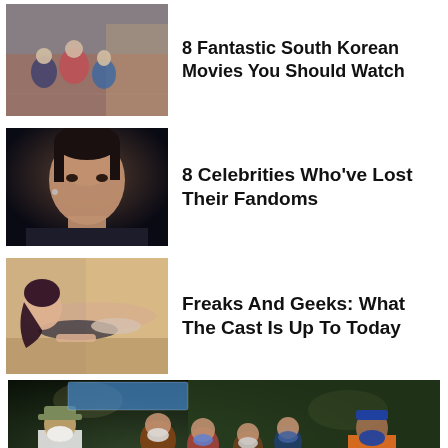[Figure (photo): South Korean movie scene with people running]
8 Fantastic South Korean Movies You Should Watch
[Figure (photo): Male celebrity with intense expression, dark background]
8 Celebrities Who've Lost Their Fandoms
[Figure (photo): Female celebrity posing in glamorous setting]
Freaks And Geeks: What The Cast Is Up To Today
[Figure (photo): Police officers and people wearing masks at night, outdoors]